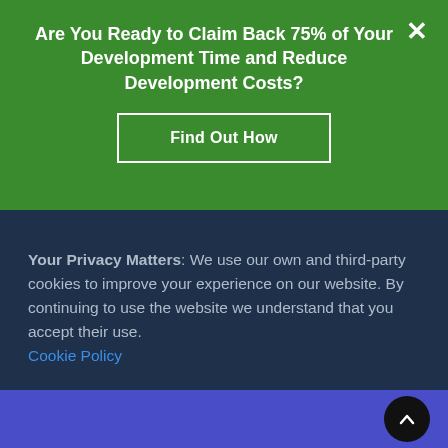Are You Ready to Claim Back 75% of Your Development Time and Reduce Development Costs?
Find Out How
Your Privacy Matters: We use our own and third-party cookies to improve your experience on our website. By continuing to use the website we understand that you accept their use. Cookie Policy
Close
[Figure (screenshot): Purple/blue footer section with a dark circular scroll-to-top button with an upward chevron arrow on the right side]